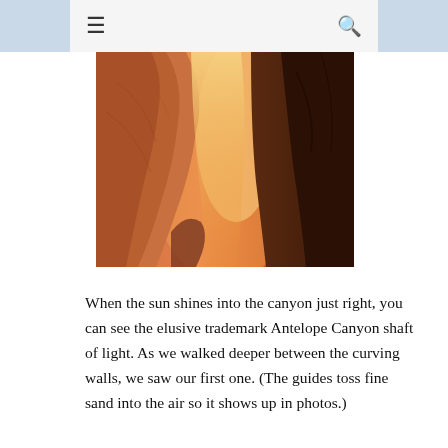≡  🔍
[Figure (photo): Close-up photograph of Antelope Canyon rock walls, showing smooth orange and red sandstone curves with deep shadowed crevices and warm glowing light between the formations.]
When the sun shines into the canyon just right, you can see the elusive trademark Antelope Canyon shaft of light. As we walked deeper between the curving walls, we saw our first one. (The guides toss fine sand into the air so it shows up in photos.)